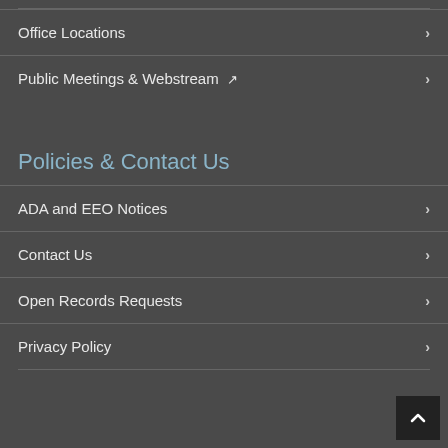Office Locations
Public Meetings & Webstream
Policies & Contact Us
ADA and EEO Notices
Contact Us
Open Records Requests
Privacy Policy